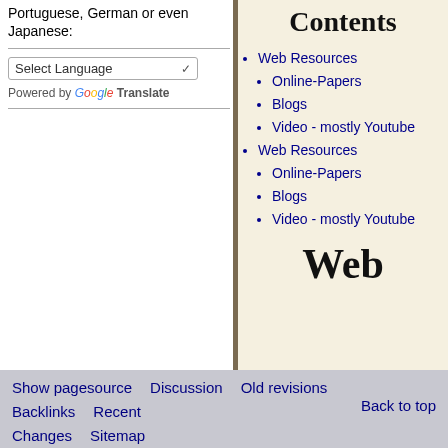Portuguese, German or even Japanese:
Select Language
Powered by Google Translate
Contents
Web Resources
Online-Papers
Blogs
Video - mostly Youtube
Web Resources
Online-Papers
Blogs
Video - mostly Youtube
Web
Show pagesource   Discussion   Old revisions   Backlinks   Recent   Changes   Sitemap   Back to top